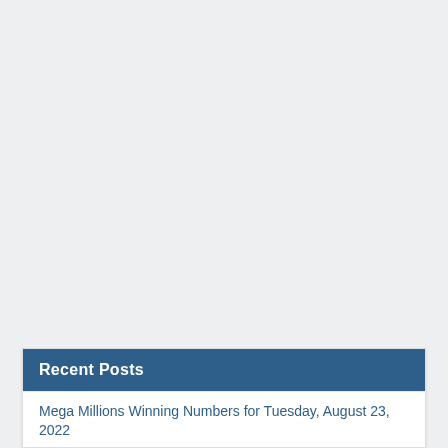Recent Posts
Mega Millions Winning Numbers for Tuesday, August 23, 2022